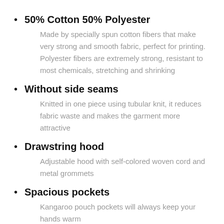50% Cotton 50% Polyester
Made by specially spun cotton fibers that make very strong and smooth fabric, perfect for printing. Polyester fibers are extremely strong, resistant to most chemicals, stretching and shrinking
Without side seams
Knitted in one piece using tubular knit, it reduces fabric waste and makes the garment more attractive
Drawstring hood
Adjustable hood with self-colored woven cord and metal grommets
Spacious pockets
Kangaroo pouch pockets will always keep your hands warm